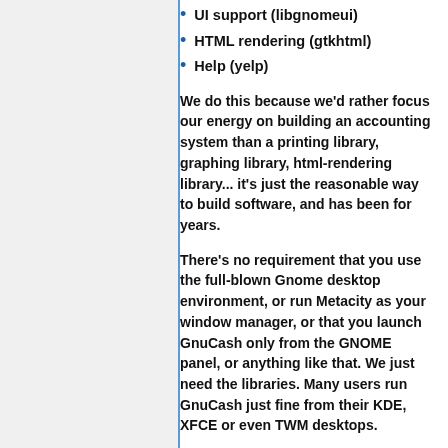UI support (libgnomeui)
HTML rendering (gtkhtml)
Help (yelp)
We do this because we'd rather focus our energy on building an accounting system than a printing library, graphing library, html-rendering library... it's just the reasonable way to build software, and has been for years.
There's no requirement that you use the full-blown Gnome desktop environment, or run Metacity as your window manager, or that you launch GnuCash only from the GNOME panel, or anything like that. We just need the libraries. Many users run GnuCash just fine from their KDE, XFCE or even TWM desktops.